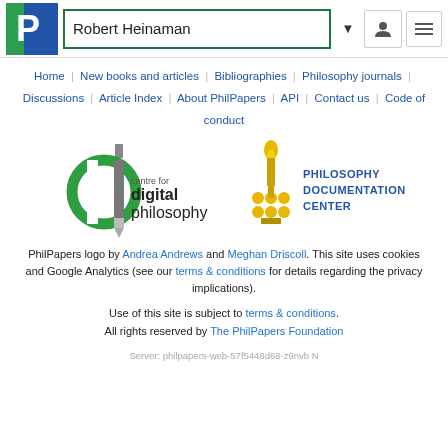Robert Heinaman
Home | New books and articles | Bibliographies | Philosophy journals | Discussions | Article Index | About PhilPapers | API | Contact us | Code of conduct
[Figure (logo): Centre for Digital Philosophy logo and Philosophy Documentation Center logo side by side]
PhilPapers logo by Andrea Andrews and Meghan Driscoll. This site uses cookies and Google Analytics (see our terms & conditions for details regarding the privacy implications).
Use of this site is subject to terms & conditions. All rights reserved by The PhilPapers Foundation
Server: philpapers-web-57f5448d68-z9nvb N